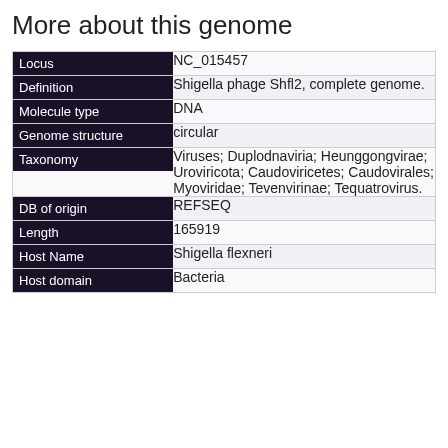More about this genome
| Field | Value |
| --- | --- |
| Locus | NC_015457 |
| Definition | Shigella phage Shfl2, complete genome. |
| Molecule type | DNA |
| Genome structure | circular |
| Taxonomy | Viruses; Duplodnaviria; Heunggongvirae; Uroviricota; Caudoviricetes; Caudovirales; Myoviridae; Tevenvirinae; Tequatrovirus. |
| DB of origin | REFSEQ |
| Length | 165919 |
| Host Name | Shigella flexneri |
| Host domain | Bacteria |